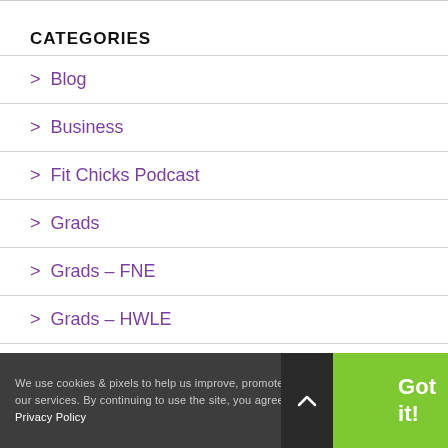CATEGORIES
> Blog
> Business
> Fit Chicks Podcast
> Grads
> Grads – FNE
> Grads – HWLE
> Nutritio…
We use cookies & pixels to help us improve, promote, and protect our services. By continuing to use the site, you agree to our Privacy Policy   Got it!